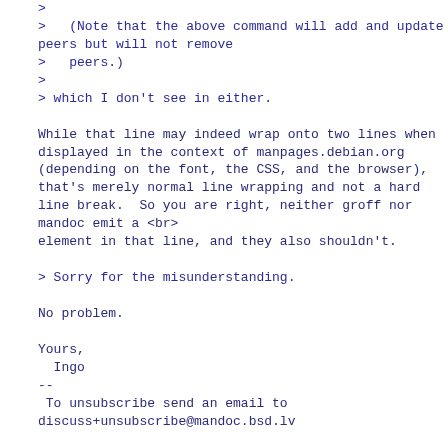> 
>    (Note that the above command will add and update peers but will not remove
>    peers.)
>
> which I don't see in either.

While that line may indeed wrap onto two lines when displayed in the context of manpages.debian.org (depending on the font, the CSS, and the browser), that's merely normal line wrapping and not a hard
line break.  So you are right, neither groff nor mandoc emit a <br>
element in that line, and they also shouldn't.

> Sorry for the misunderstanding.

No problem.

Yours,
  Ingo
--
 To unsubscribe send an email to discuss+unsubscribe@mandoc.bsd.lv